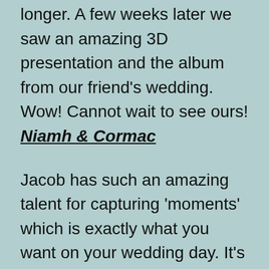longer. A few weeks later we saw an amazing 3D presentation and the album from our friend's wedding. Wow! Cannot wait to see ours! Niamh & Cormac
Jacob has such an amazing talent for capturing 'moments' which is exactly what you want on your wedding day. It's not the formal photos that remind you how great your day was – it's the natural fun and excitement that is so important to be documented. Jacob's ability